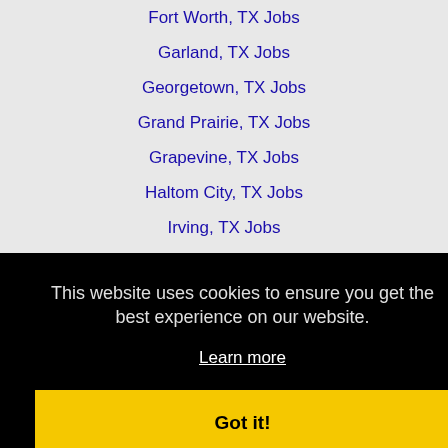Fort Worth, TX Jobs
Garland, TX Jobs
Georgetown, TX Jobs
Grand Prairie, TX Jobs
Grapevine, TX Jobs
Haltom City, TX Jobs
Irving, TX Jobs
Keller, TX Jobs
Killeen, TX Jobs
This website uses cookies to ensure you get the best experience on our website.
Learn more
Got it!